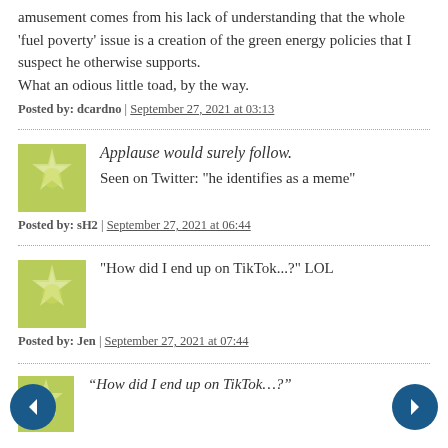amusement comes from his lack of understanding that the whole 'fuel poverty' issue is a creation of the green energy policies that I suspect he otherwise supports.
What an odious little toad, by the way.
Posted by: dcardno | September 27, 2021 at 03:13
Applause would surely follow.
Seen on Twitter: "he identifies as a meme"
Posted by: sH2 | September 27, 2021 at 06:44
"How did I end up on TikTok...?" LOL
Posted by: Jen | September 27, 2021 at 07:44
“How did I end up on TikTok…?”